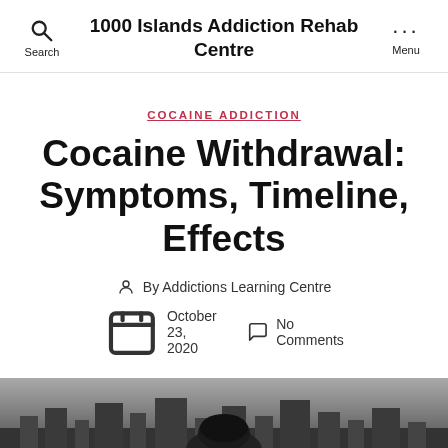1000 Islands Addiction Rehab Centre
COCAINE ADDICTION
Cocaine Withdrawal: Symptoms, Timeline, Effects
By Addictions Learning Centre
October 23, 2020  No Comments
[Figure (photo): Black and white photo of a person, partial head/hair visible, cityscape background]